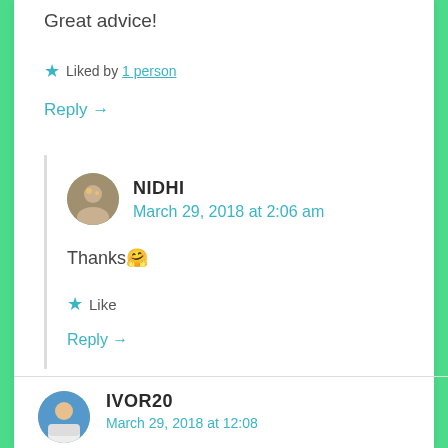Great advice!
★ Liked by 1 person
Reply →
NIDHI
March 29, 2018 at 2:06 am
Thanks🤗
★ Like
Reply →
IVOR20
March 29, 2018 at 12:08